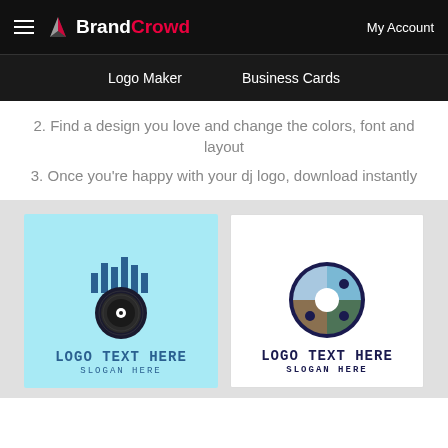BrandCrowd — My Account
Logo Maker  Business Cards
2. Find a design you love and change the colors, font and layout
3. Once you're happy with your dj logo, download instantly
[Figure (logo): Vinyl record with equalizer bars above it on cyan background, with text LOGO TEXT HERE and SLOGAN HERE]
[Figure (logo): CD/disc with puzzle-piece colored segments (blue, green, brown) on white background, with text LOGO TEXT HERE and SLOGAN HERE]